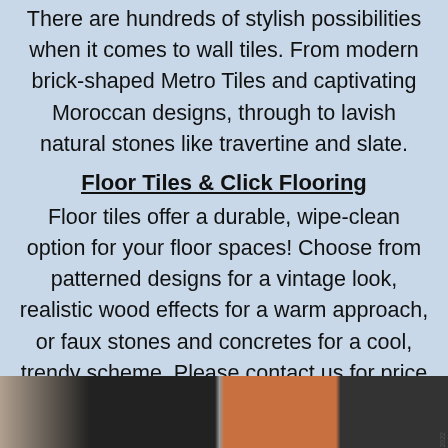There are hundreds of stylish possibilities when it comes to wall tiles. From modern brick-shaped Metro Tiles and captivating Moroccan designs, through to lavish natural stones like travertine and slate.
Floor Tiles & Click Flooring
Floor tiles offer a durable, wipe-clean option for your floor spaces! Choose from patterned designs for a vintage look, realistic wood effects for a warm approach, or faux stones and concretes for a cool, trendy scheme. Please contact us for price with 40% off
[Figure (photo): A photo strip showing wall tiles including brick-style metro tiles and other tile designs in dark, brick-red, and stone colors.]